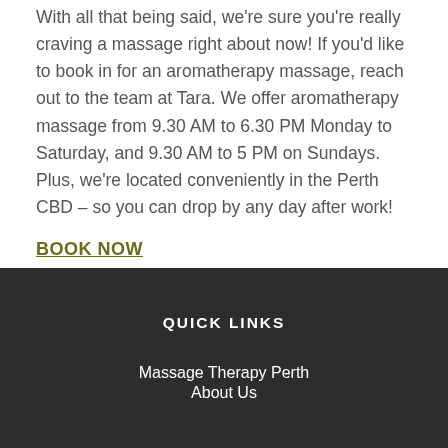With all that being said, we're sure you're really craving a massage right about now! If you'd like to book in for an aromatherapy massage, reach out to the team at Tara. We offer aromatherapy massage from 9.30 AM to 6.30 PM Monday to Saturday, and 9.30 AM to 5 PM on Sundays. Plus, we're located conveniently in the Perth CBD – so you can drop by any day after work!
BOOK NOW
QUICK LINKS
Massage Therapy Perth
About Us